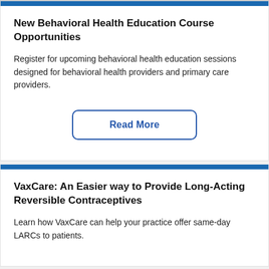New Behavioral Health Education Course Opportunities
Register for upcoming behavioral health education sessions designed for behavioral health providers and primary care providers.
Read More
VaxCare: An Easier way to Provide Long-Acting Reversible Contraceptives
Learn how VaxCare can help your practice offer same-day LARCs to patients.